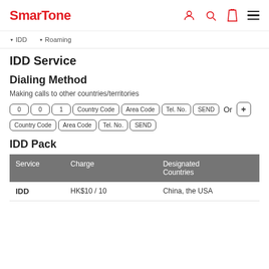SmarTone
▼ IDD   ▼ Roaming
IDD Service
Dialing Method
Making calls to other countries/territories
0 0 1 Country Code Area Code Tel. No. SEND Or + Country Code Area Code Tel. No. SEND
IDD Pack
| Service | Charge | Designated Countries |
| --- | --- | --- |
| IDD | HK$10 / 10 | China, the USA (except Alaska & |